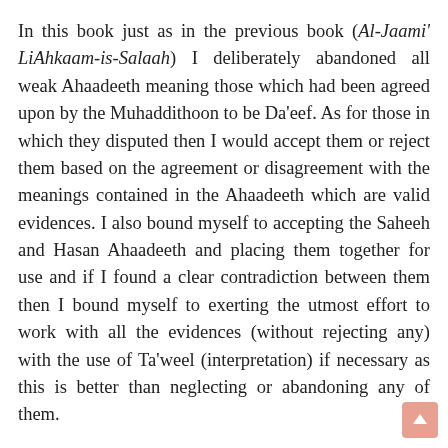In this book just as in the previous book (Al-Jaami' LiAhkaam-is-Salaah) I deliberately abandoned all weak Ahaadeeth meaning those which had been agreed upon by the Muhaddithoon to be Da'eef. As for those in which they disputed then I would accept them or reject them based on the agreement or disagreement with the meanings contained in the Ahaadeeth which are valid evidences. I also bound myself to accepting the Saheeh and Hasan Ahaadeeth and placing them together for use and if I found a clear contradiction between them then I bound myself to exerting the utmost effort to work with all the evidences (without rejecting any) with the use of Ta'weel (interpretation) if necessary as this is better than neglecting or abandoning any of them.